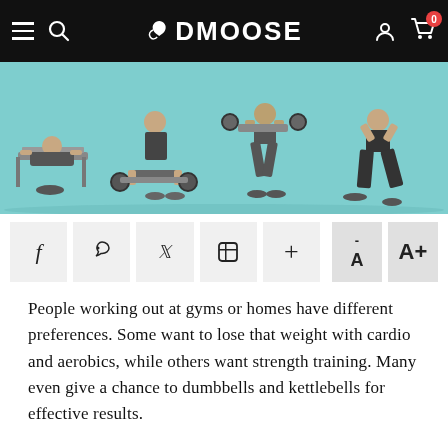DMOOSE
[Figure (photo): Multiple athletes performing barbell exercises including bench press, deadlift, squat, and lunge on a teal/cyan background]
[Figure (other): Social sharing buttons: Facebook, Pinterest, Twitter, LinkedIn, plus icon; and font size controls A- and A+]
People working out at gyms or homes have different preferences. Some want to lose that weight with cardio and aerobics, while others want strength training. Many even give a chance to dumbbells and kettlebells for effective results.
But, when it comes to building muscle and strength without spending hours in the gym, a barbell should be the point of focus. Nearly all gyms possess this game-